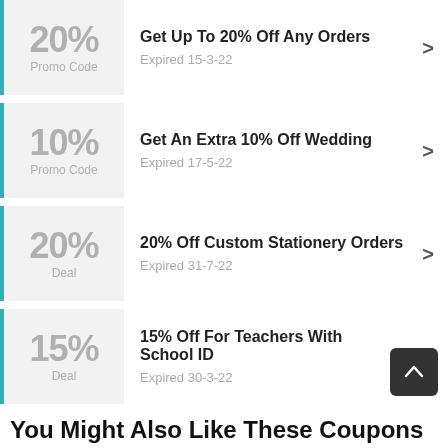20% Promo Code — Get Up To 20% Off Any Orders — Expired 15-3-22
10% Promo Code — Get An Extra 10% Off Wedding — Expired 17-5-22
20% Deal — 20% Off Custom Stationery Orders — Expired 31-7-22
15% Deal — 15% Off For Teachers With School ID — Expired 30-3-22
You Might Also Like These Coupons